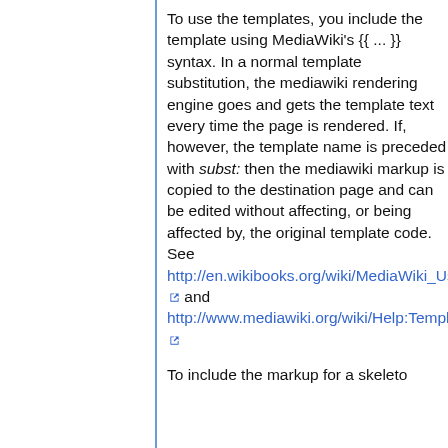To use the templates, you include the template using MediaWiki's {{ ... }} syntax. In a normal template substitution, the mediawiki rendering engine goes and gets the template text every time the page is rendered. If, however, the template name is preceded with subst: then the mediawiki markup is copied to the destination page and can be edited without affecting, or being affected by, the original template code. See http://en.wikibooks.org/wiki/MediaWiki_User_Guide/Templates and http://www.mediawiki.org/wiki/Help:Templates
To include the markup for a skeleto